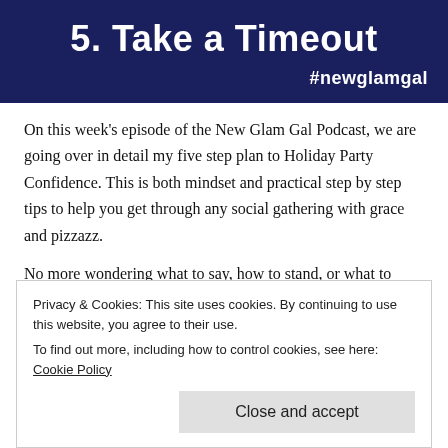5. Take a Timeout
#newglamgal
On this week's episode of the New Glam Gal Podcast, we are going over in detail my five step plan to Holiday Party Confidence. This is both mindset and practical step by step tips to help you get through any social gathering with grace and pizzazz.
No more wondering what to say, how to stand, or what to wear. Episode 71 on How to Find a Holiday Party Dress has
Privacy & Cookies: This site uses cookies. By continuing to use this website, you agree to their use.
To find out more, including how to control cookies, see here: Cookie Policy
Close and accept